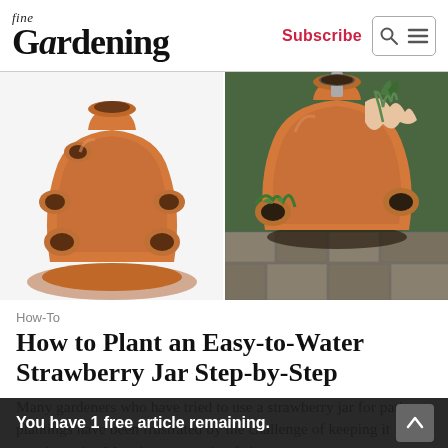fine Gardening — Subscribe
[Figure (photo): Two terracotta strawberry jars: left photo shows empty jar with side pockets on white background; right photo shows jar being planted with herbs and strawberries outdoors on patio]
How-To
How to Plant an Easy-to-Water Strawberry Jar Step-by-Step
Many gardeners who have tried to use a strawberry jar for patio plantings have been frustrated by the challenge of keeping it evenly moist. Most jars are made of clay,...
You have 1 free article remaining.